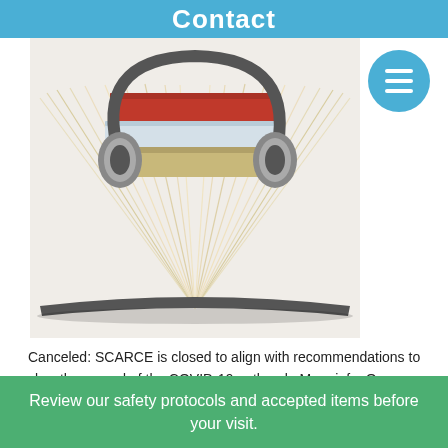Contact
[Figure (photo): A stack of books with headphones resting on top, and an open book with fanned pages in the foreground, on a white background.]
Canceled: SCARCE is closed to align with recommendations to slow the spread of the COVID-19 outbreak. More info. Open…
read more
Scarcely Used Book & Record Sale Canceled
Review our safety protocols and accepted items before your visit.